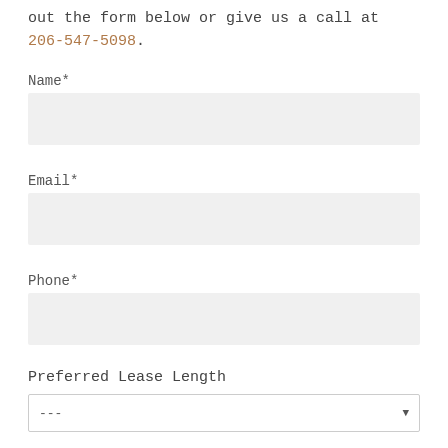out the form below or give us a call at 206-547-5098.
Name*
Email*
Phone*
Preferred Lease Length
---